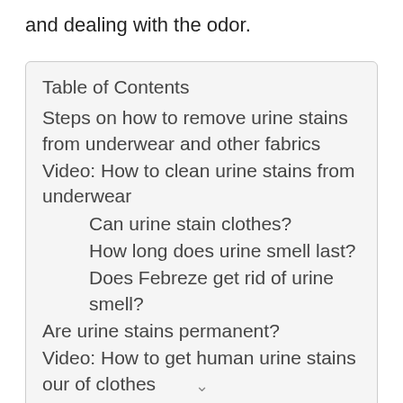and dealing with the odor.
| Table of Contents |
| --- |
| Steps on how to remove urine stains from underwear and other fabrics |
| Video: How to clean urine stains from underwear |
| Can urine stain clothes? |
| How long does urine smell last? |
| Does Febreze get rid of urine smell? |
| Are urine stains permanent? |
| Video: How to get human urine stains our of clothes |